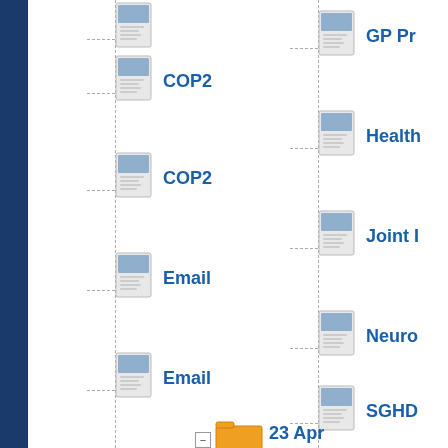[Figure (screenshot): File explorer tree view showing document items: COP2..., COP2..., Email..., Email..., GP Pr..., Health..., Joint I..., Neuro..., SGHD..., and a folder labeled '23 Apr' with expand/collapse control. Each document item has a thumbnail icon and dashed connector lines. Left side has a dark blue vertical panel.]